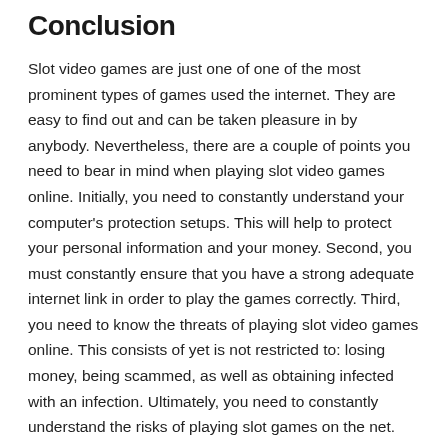Conclusion
Slot video games are just one of one of the most prominent types of games used the internet. They are easy to find out and can be taken pleasure in by anybody. Nevertheless, there are a couple of points you need to bear in mind when playing slot video games online. Initially, you need to constantly understand your computer’s protection setups. This will help to protect your personal information and your money. Second, you must constantly ensure that you have a strong adequate internet link in order to play the games correctly. Third, you need to know the threats of playing slot video games online. This consists of yet is not restricted to: losing money, being scammed, as well as obtaining infected with an infection. Ultimately, you need to constantly understand the risks of playing slot games on the net.